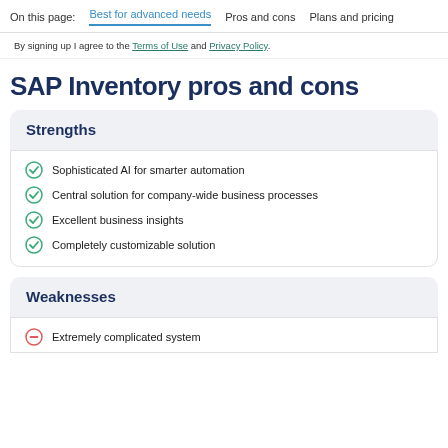On this page: Best for advanced needs  Pros and cons  Plans and pricing
By signing up I agree to the Terms of Use and Privacy Policy.
SAP Inventory pros and cons
Strengths
Sophisticated AI for smarter automation
Central solution for company-wide business processes
Excellent business insights
Completely customizable solution
Weaknesses
Extremely complicated system